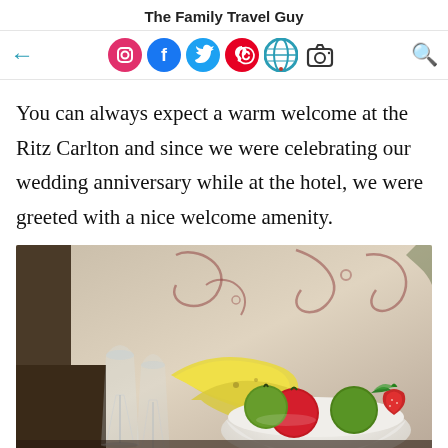The Family Travel Guy
[Figure (screenshot): Navigation bar with back arrow, social media icons (Instagram, Facebook, Twitter, Pinterest, Vine, Camera), and search icon]
You can always expect a warm welcome at the Ritz Carlton and since we were celebrating our wedding anniversary while at the hotel, we were greeted with a nice welcome amenity.
[Figure (photo): Photo of two champagne flutes and a white bowl filled with fruits including bananas, red apples, green apples, and strawberries, on a decorative floral background]